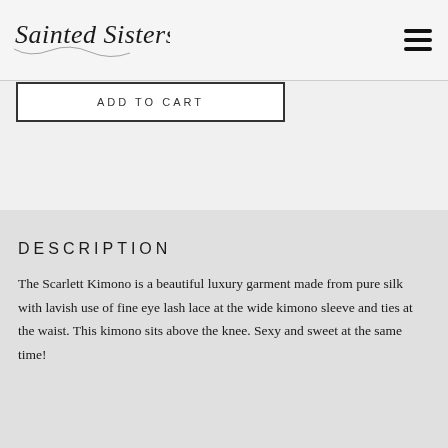Sainted Sisters
ADD TO CART
DESCRIPTION
The Scarlett Kimono is a beautiful luxury garment made from pure silk with lavish use of fine eye lash lace at the wide kimono sleeve and ties at the waist. This kimono sits above the knee. Sexy and sweet at the same time!